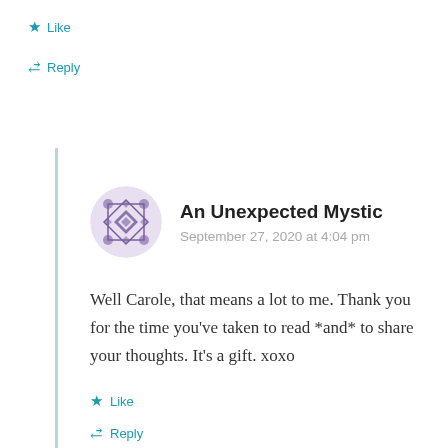Like
Reply
An Unexpected Mystic
September 27, 2020 at 4:04 pm
Well Carole, that means a lot to me. Thank you for the time you’ve taken to read *and* to share your thoughts. It’s a gift. xoxo
Like
Reply